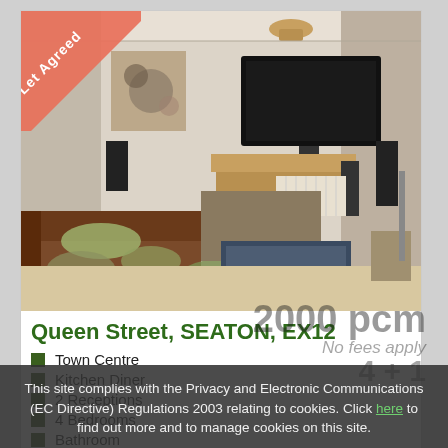[Figure (photo): Interior photo of a living room with brown sofas, large flat screen TV on wall, speakers, grey rug, ceiling light. Has a 'Let Agreed' banner in top-left corner.]
Queen Street, SEATON, EX12
Town Centre
Kitchen Diner
2 Receptions
4 Bedrooms
Bathroom
This site complies with the Privacy and Electronic Communications (EC Directive) Regulations 2003 relating to cookies. Click here to find out more and to manage cookies on this site.
2000 pcm
No fees apply
4 + 1